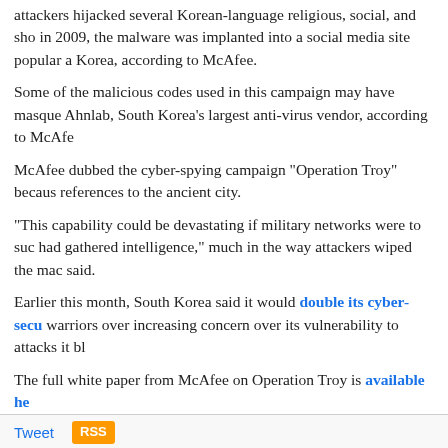attackers hijacked several Korean-language religious, social, and sho in 2009, the malware was implanted into a social media site popular a Korea, according to McAfee.
Some of the malicious codes used in this campaign may have masque Ahnlab, South Korea's largest anti-virus vendor, according to McAfe
McAfee dubbed the cyber-spying campaign "Operation Troy" becaus references to the ancient city.
"This capability could be devastating if military networks were to suc had gathered intelligence," much in the way attackers wiped the mac said.
Earlier this month, South Korea said it would double its cyber-secu warriors over increasing concern over its vulnerability to attacks it bl
The full white paper from McAfee on Operation Troy is available he
Related: South Korea Cyber Attack Tied to DarkSeoul Crew: Sy
Related: 'PinkStats' Malware Used in Attacks Against South Kor
Related: South Korea Sounds Alert After Official Websites Hacke
Tweet  RSS